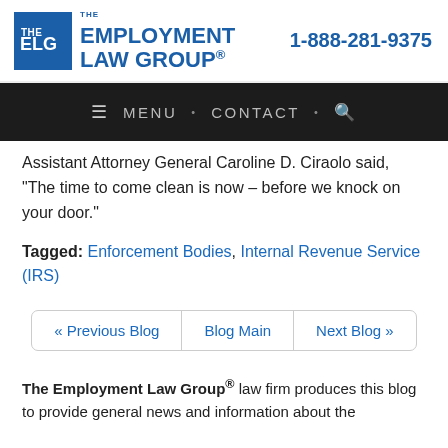[Figure (logo): The Employment Law Group logo with blue square icon showing TEG initials and blue text, alongside phone number 1-888-281-9375]
[Figure (screenshot): Navigation bar with dark background showing MENU, CONTACT, and search icon]
Assistant Attorney General Caroline D. Ciraolo said, "The time to come clean is now – before we knock on your door."
Tagged: Enforcement Bodies, Internal Revenue Service (IRS)
« Previous Blog  Blog Main  Next Blog »
The Employment Law Group® law firm produces this blog to provide general news and information about the